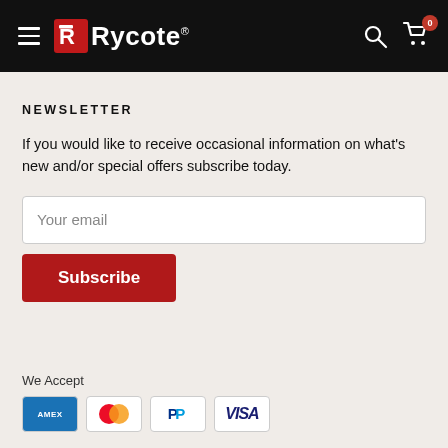Rycote — navigation bar with hamburger menu, logo, search and cart icons
NEWSLETTER
If you would like to receive occasional information on what's new and/or special offers subscribe today.
Your email
Subscribe
We Accept
[Figure (other): Payment method icons: American Express, Mastercard, PayPal, Visa]